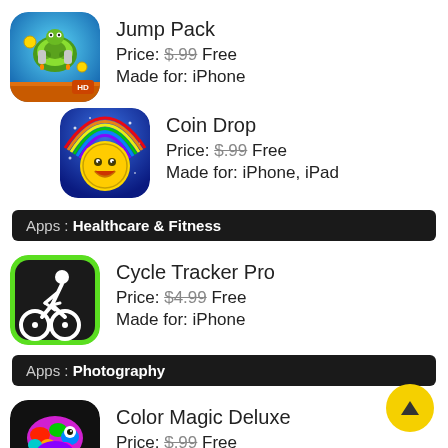[Figure (illustration): Jump Pack app icon - HD game with turtle/robot character on blue/orange background]
Jump Pack
Price: $.99 Free
Made for: iPhone
[Figure (illustration): Coin Drop app icon - smiley face coin with rainbow on blue background]
Coin Drop
Price: $.99 Free
Made for: iPhone, iPad
Apps : Healthcare & Fitness
[Figure (illustration): Cycle Tracker Pro app icon - white cyclist silhouette on dark background with green border]
Cycle Tracker Pro
Price: $4.99 Free
Made for: iPhone
Apps : Photography
[Figure (illustration): Color Magic Deluxe app icon - colorful chameleon]
Color Magic Deluxe
Price: $.99 Free
Made for: iPhone